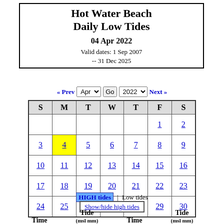Hot Water Beach Daily Low Tides
04 Apr 2022
Valid dates: 1 Sep 2007 -- 31 Dec 2025
| S | M | T | W | T | F | S |
| --- | --- | --- | --- | --- | --- | --- |
|  |  |  |  |  | 1 | 2 |
| 3 | 4 | 5 | 6 | 7 | 8 | 9 |
| 10 | 11 | 12 | 13 | 14 | 15 | 16 |
| 17 | 18 | 19 | 20 | 21 | 22 | 23 |
| 24 | 25 | 26 | 27 | 28 | 29 | 30 |
HIGH tides | Low tides
Show/hide high tides
Time Tide (msl mm) Time Tide (msl mm)
Mon, 2022 Apr 04 Mon, 2022 Apr 11